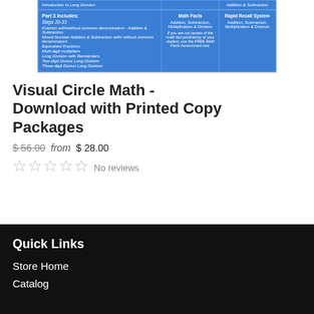[Figure (table-as-image): Blue table showing Part 3 curriculum content including Math Facts and Rapid Recall System columns]
Visual Circle Math - Download with Printed Copy Packages
$ 56.00 from $ 28.00
No reviews
Quick Links
Store Home
Catalog